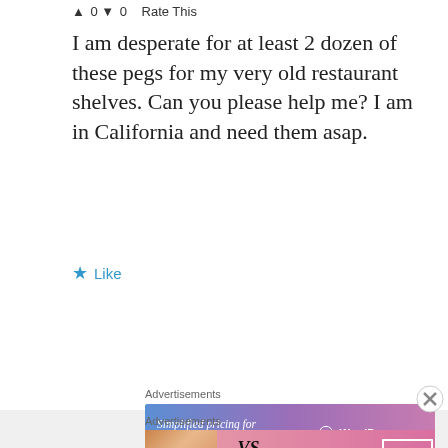0 0 Rate This
I am desperate for at least 2 dozen of these pegs for my very old restaurant shelves. Can you please help me? I am in California and need them asap.
★ Like
Reply
Advertisements
[Figure (other): WordPress.com advertisement banner: 'Simplified pricing for everything you need. WordPress.com']
Advertisements
[Figure (other): Victoria's Secret advertisement banner: 'SHOP THE COLLECTION - SHOP NOW']